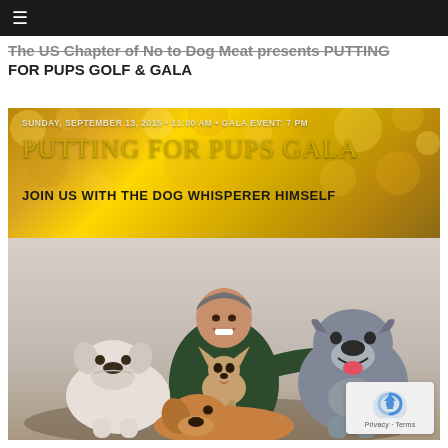≡
The US Chapter of No to Dog Meat presents PUTTING FOR PUPS GOLF & GALA
[Figure (photo): Event promotional image for 'Putting for Pups Gala' showing a banner with golden bokeh background reading 'SUNDAY, SEPTEMBER 13, 2015 · 11:00 AM · GALA EVENT: 7 PM / PUTTING FOR PUPS GALA / JOIN US WITH THE DOG WHISPERER HIMSELF', below which is a photo of Cesar Millan (the Dog Whisperer) posing with four dogs: a white bulldog, a chihuahua, a pit bull, and a golden/tan dog in front.]